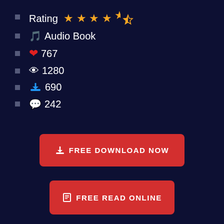Rating ★★★★½
♪ Audio Book
❤ 767
👁 1280
⬇ 690
💬 242
FREE DOWNLOAD NOW
FREE READ ONLINE